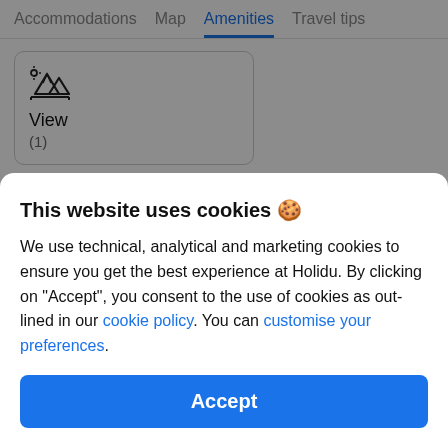Accommodations  Map  Amenities  Travel tips
[Figure (other): Amenity card showing a mountain/view icon with label 'View' and count (1)]
This website uses cookies 🍪
We use technical, analytical and marketing cookies to ensure you get the best experience at Holidu. By clicking on "Accept", you consent to the use of cookies as out-lined in our cookie policy. You can customise your preferences.